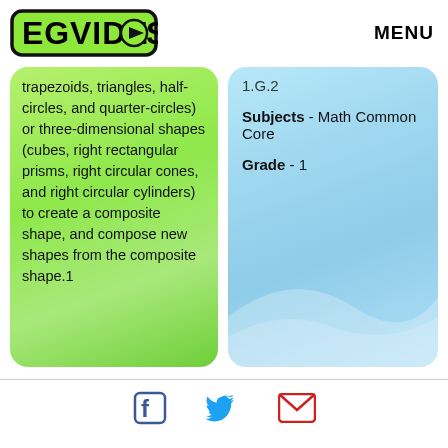[Figure (logo): EG VIDEOS logo in green with black border and a play button icon]
MENU
trapezoids, triangles, half-circles, and quarter-circles) or three-dimensional shapes (cubes, right rectangular prisms, right circular cones, and right circular cylinders) to create a composite shape, and compose new shapes from the composite shape.1
1.G.2

Subjects - Math Common Core

Grade - 1
[Figure (logo): Facebook, Twitter, and email social media icons in footer]